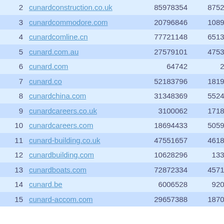| # | Domain | Col3 | Col4 | Col5 |
| --- | --- | --- | --- | --- |
| 2 | cunardconstruction.co.uk | 85978354 | 87526240 | FO |
| 3 | cunardcommodore.com | 20796846 | 10899575 | FO |
| 4 | cunardcomline.cn | 77721148 | 65139837 | ENOT |
| 5 | cunard.com.au | 27579101 | 47531170 | FO |
| 6 | cunard.com | 64742 | 23417 | FO |
| 7 | cunard.co | 52183796 | 18193252 | EN |
| 8 | cunardchina.com | 31348369 | 55246447 | ENOT |
| 9 | cunardcareers.co.uk | 3100062 | 17180616 | FO |
| 10 | cunardcareers.com | 18694433 | 50591299 | FO |
| 11 | cunard-building.co.uk | 47551657 | 46185255 | FO |
| 12 | cunardbuilding.com | 10628296 | 1330069 | FO |
| 13 | cunardboats.com | 72872334 | 45710591 | FO |
| 14 | cunard.be | 6006528 | 9202993 | FO |
| 15 | cunard-accom.com | 29657388 | 18702776 | FO |